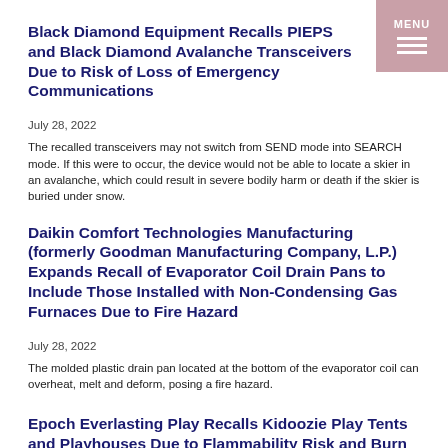Black Diamond Equipment Recalls PIEPS and Black Diamond Avalanche Transceivers Due to Risk of Loss of Emergency Communications
July 28, 2022
The recalled transceivers may not switch from SEND mode into SEARCH mode. If this were to occur, the device would not be able to locate a skier in an avalanche, which could result in severe bodily harm or death if the skier is buried under snow.
Daikin Comfort Technologies Manufacturing (formerly Goodman Manufacturing Company, L.P.) Expands Recall of Evaporator Coil Drain Pans to Include Those Installed with Non-Condensing Gas Furnaces Due to Fire Hazard
July 28, 2022
The molded plastic drain pan located at the bottom of the evaporator coil can overheat, melt and deform, posing a fire hazard.
Epoch Everlasting Play Recalls Kidoozie Play Tents and Playhouses Due to Flammability Risk and Burn Hazard